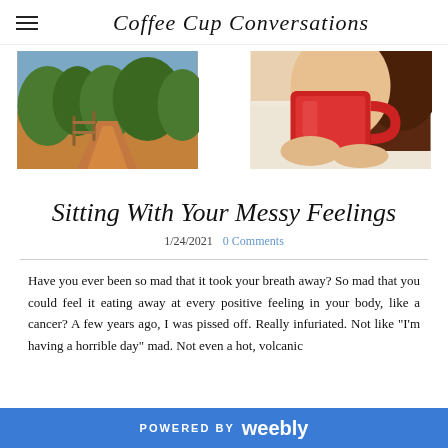Coffee Cup Conversations
[Figure (photo): Outdoor trail with red dirt and wooden fence, green trees, blue sky in the background]
[Figure (photo): Person holding a red ceramic coffee mug close to their face, wearing a fuzzy cream sweater, brown hair visible]
Sitting With Your Messy Feelings
1/24/2021   0 Comments
Have you ever been so mad that it took your breath away? So mad that you could feel it eating away at every positive feeling in your body, like a cancer? A few years ago, I was pissed off. Really infuriated. Not like "I'm having a horrible day" mad. Not even a hot, volcanic
POWERED BY weebly